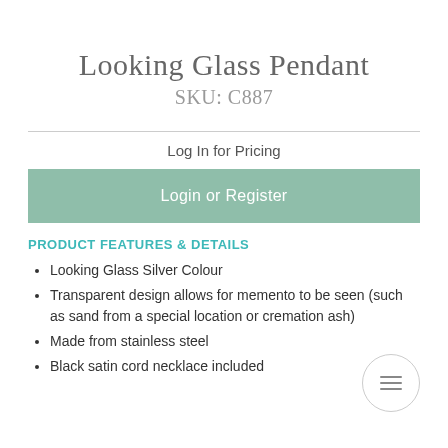Looking Glass Pendant
SKU: C887
Log In for Pricing
Login or Register
PRODUCT FEATURES & DETAILS
Looking Glass Silver Colour
Transparent design allows for memento to be seen (such as sand from a special location or cremation ash)
Made from stainless steel
Black satin cord necklace included